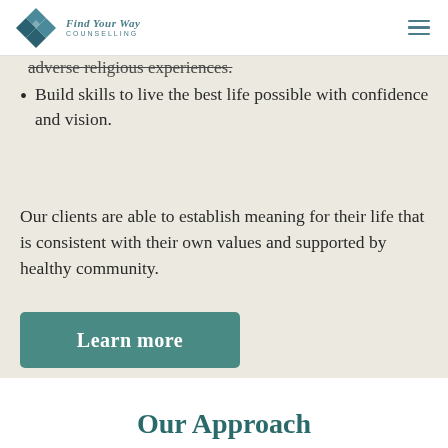Find Your Way Counselling
adverse religious experiences.
Build skills to live the best life possible with confidence and vision.
Our clients are able to establish meaning for their life that is consistent with their own values and supported by healthy community.
Learn more
Our Approach